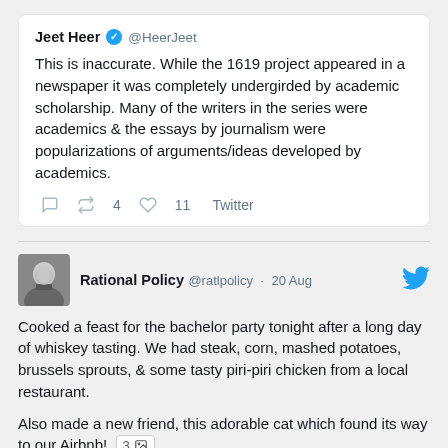[Figure (screenshot): Embedded tweet from Jeet Heer (@HeerJeet) with verified badge, text: 'This is inaccurate. While the 1619 project appeared in a newspaper it was completely undergirded by academic scholarship. Many of the writers in the series were academics & the essays by journalism were popularizations of arguments/ideas developed by academics.' With action icons showing retweet count 4, like count 11, and Twitter link.]
[Figure (screenshot): Tweet from Rational Policy (@ratlpolicy) dated 20 Aug with Twitter bird icon and black-and-white avatar photo. Text: 'Cooked a feast for the bachelor party tonight after a long day of whiskey tasting. We had steak, corn, mashed potatoes, brussels sprouts, & some tasty piri-piri chicken from a local restaurant. Also made a new friend, this adorable cat which found its way to our Airbnb! 3 [image icon]']